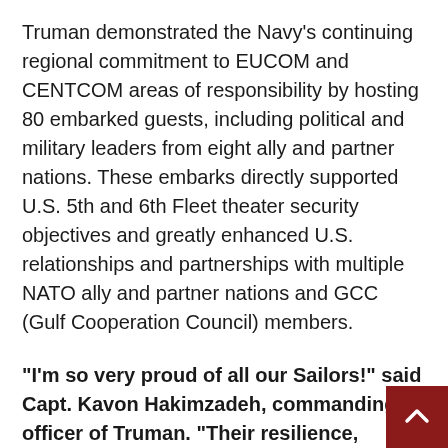Truman demonstrated the Navy's continuing regional commitment to EUCOM and CENTCOM areas of responsibility by hosting 80 embarked guests, including political and military leaders from eight ally and partner nations. These embarks directly supported U.S. 5th and 6th Fleet theater security objectives and greatly enhanced U.S. relationships and partnerships with multiple NATO ally and partner nations and GCC (Gulf Cooperation Council) members.
“I’m so very proud of all our Sailors!” said Capt. Kavon Hakimzadeh, commanding officer of Truman. “Their resilience, perseverance, and utter dedication to mission has been nothing short of exemplary. It has been my greatest honor to serve as Truman’s commanding officer